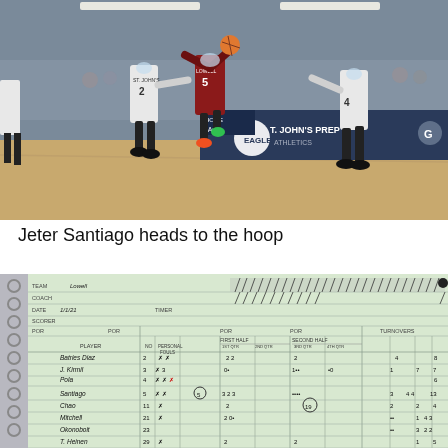[Figure (photo): Basketball game action shot: a Lowell player wearing #5 in a dark red jersey drives to the basket while St. John's Prep players in white jerseys (#2 and others) defend. Players wear masks. St. John's Prep Eagles Athletics banner visible in background.]
Jeter Santiago heads to the hoop
[Figure (photo): Handwritten basketball score sheet / box score showing player names including Batries Diaz, J. Kirmil, Pola, Santiago, Chao, Mitchell, Okonobout, T. Heinen, and others, with columns for personal fouls, first half, second half scoring, and turnovers.]